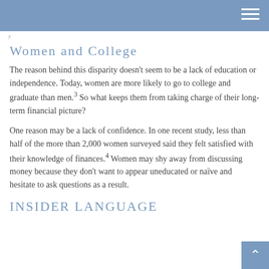Women and College
The reason behind this disparity doesn't seem to be a lack of education or independence. Today, women are more likely to go to college and graduate than men.³ So what keeps them from taking charge of their long-term financial picture?
One reason may be a lack of confidence. In one recent study, less than half of the more than 2,000 women surveyed said they felt satisfied with their knowledge of finances.⁴ Women may shy away from discussing money because they don't want to appear uneducated or naïve and hesitate to ask questions as a result.
INSIDER LANGUAGE